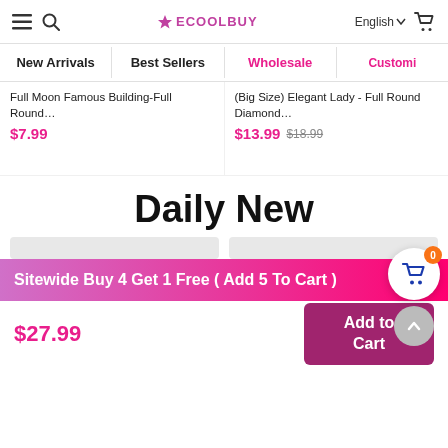ECOOLBUY — English — navigation bar with hamburger, search, logo, language selector, cart
New Arrivals | Best Sellers | Wholesale | Customi…
Full Moon Famous Building-Full Round…
$7.99
(Big Size) Elegant Lady - Full Round Diamond…
$13.99  $18.99
Daily New
Sitewide Buy 4 Get 1 Free ( Add 5 To Cart )
$27.99
Add to Cart